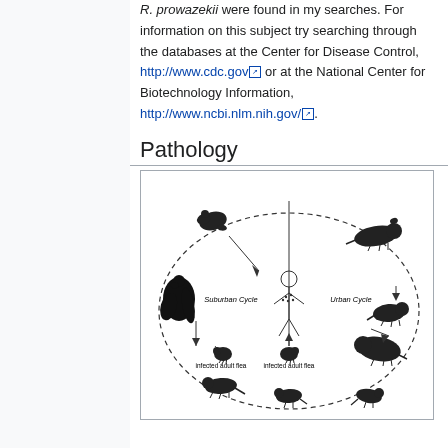R. prowazekii were found in my searches. For information on this subject try searching through the databases at the Center for Disease Control, http://www.cdc.gov or at the National Center for Biotechnology Information, http://www.ncbi.nlm.nih.gov/.
Pathology
[Figure (illustration): A diagram showing the suburban and urban transmission cycles of typhus. A human figure stands in the center. The suburban cycle (left) shows flying squirrel and infected adult flea. The urban cycle (right) shows rats and infected adult fleas. Arrows indicate direction of transmission between animals, fleas, and humans. A large dashed circle encompasses the entire cycle diagram.]